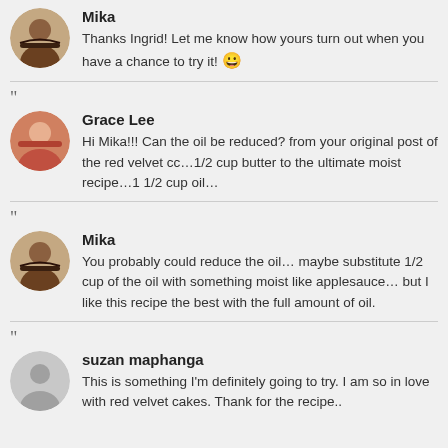[Figure (photo): Circular avatar photo of Mika, a woman with dark hair]
Mika
Thanks Ingrid! Let me know how yours turn out when you have a chance to try it! 😀
"
[Figure (photo): Circular avatar photo of Grace Lee, a woman in pink]
Grace Lee
Hi Mika!!! Can the oil be reduced? from your original post of the red velvet cc…1/2 cup butter to the ultimate moist recipe…1 1/2 cup oil…
"
[Figure (photo): Circular avatar photo of Mika, a woman with dark hair]
Mika
You probably could reduce the oil… maybe substitute 1/2 cup of the oil with something moist like applesauce… but I like this recipe the best with the full amount of oil.
"
[Figure (photo): Circular generic user avatar (gray silhouette) for suzan maphanga]
suzan maphanga
This is something I'm definitely going to try. I am so in love with red velvet cakes. Thank for the recipe..